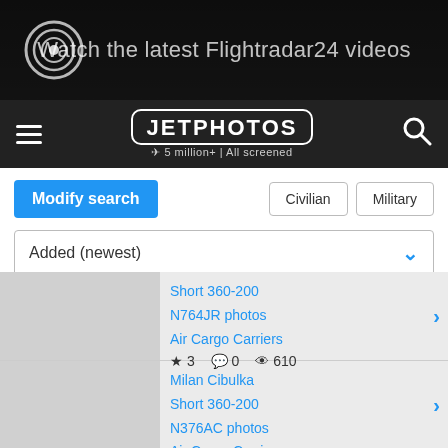[Figure (screenshot): Flightradar24 banner ad showing aircraft with text 'Watch the latest Flightradar24 videos']
[Figure (logo): JetPhotos navigation bar with hamburger menu, JETPHOTOS logo (5 million+ | All screened), and search icon]
Modify search | Civilian | Military
Added (newest)
Short 360-200
N764JR photos
Air Cargo Carriers
★ 3  💬 0  👁 610
Milan Cibulka
Short 360-200
N376AC photos
Air Cargo Carriers
★ 3  💬 0  👁 438